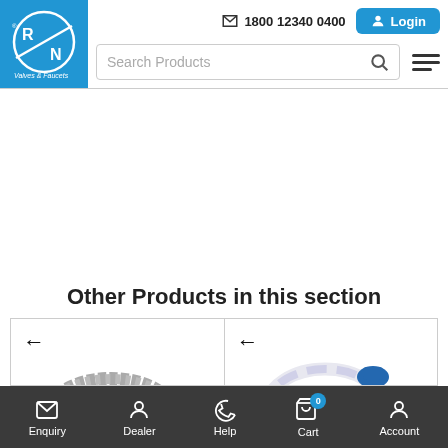[Figure (logo): R/N Valves & Faucets logo on blue circular background]
1800 12340 0400
Login
Search Products
Other Products in this section
[Figure (photo): Stainless steel braided flexible hose pipe with blue plastic connector end, coiled, with left arrow navigation]
[Figure (photo): White PVC flexible hose pipe with blue plastic connector ends, coiled, with left arrow navigation]
Enquiry  Dealer  Help  Cart 0  Account